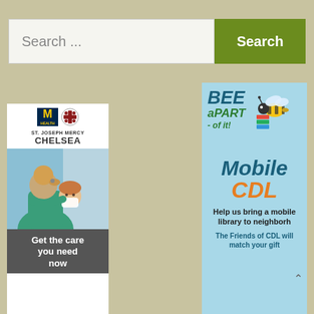[Figure (screenshot): Search bar with text input field showing 'Search ...' placeholder and a green 'Search' button]
[Figure (illustration): St. Joseph Mercy Chelsea advertisement showing Michigan Health and Trinity Health logos, image of nurse and child with mask, tagline 'Get the care you need now']
[Figure (illustration): Mobile CDL advertisement showing bee graphic and text 'BEE aPART of it! Mobile CDL - Help us bring a mobile library to neighborhoods. The Friends of CDL will match your gift']